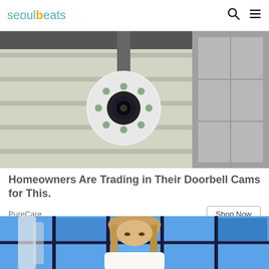seoulbeats
[Figure (photo): A white dome security camera mounted outside a house near a door, close-up view.]
Homeowners Are Trading in Their Doorbell Cams for This.
PureCare
Shop Now
[Figure (photo): A blonde woman standing in front of a blue stained-glass window background, wearing a white outfit.]